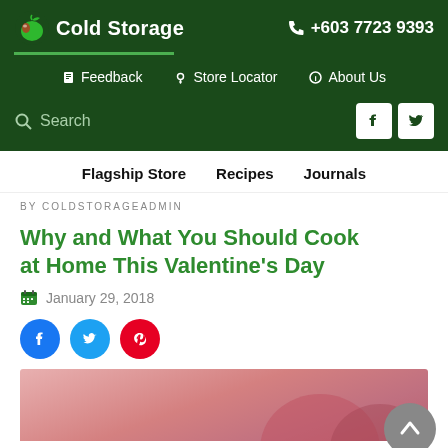Cold Storage — +603 7723 9393
Feedback | Store Locator | About Us
Search
Flagship Store   Recipes   Journals
BY COLDSTORAGEADMIN
Why and What You Should Cook at Home This Valentine's Day
January 29, 2018
[Figure (screenshot): Social share icons: Facebook (blue circle), Twitter (light blue circle), Pinterest (red circle)]
[Figure (photo): Pink/rose-colored Valentine's Day themed image with heart shapes at the bottom]